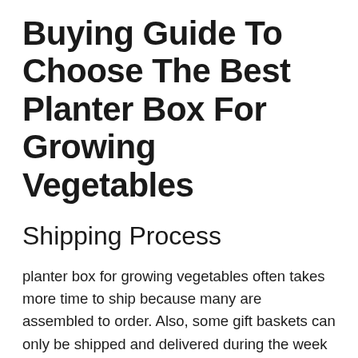Buying Guide To Choose The Best Planter Box For Growing Vegetables
Shipping Process
planter box for growing vegetables often takes more time to ship because many are assembled to order. Also, some gift baskets can only be shipped and delivered during the week due to the inclusion of perishables. Be sure to check processing and shipping times before ordering to ensure they'll get there in time. If you're ordering something that